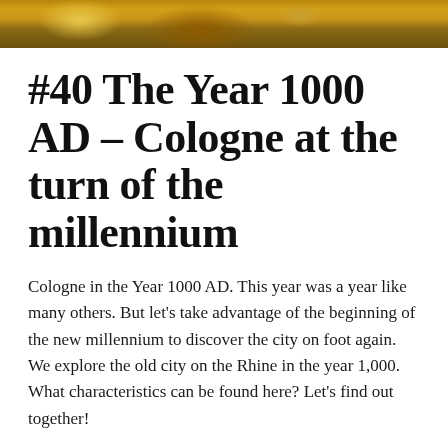[Figure (photo): Decorative photo strip at top showing golden/brown textured surface, possibly wood or metallic material]
#40 The Year 1000 AD – Cologne at the turn of the millennium
Cologne in the Year 1000 AD. This year was a year like many others. But let's take advantage of the beginning of the new millennium to discover the city on foot again. We explore the old city on the Rhine in the year 1,000. What characteristics can be found here? Let's find out together!